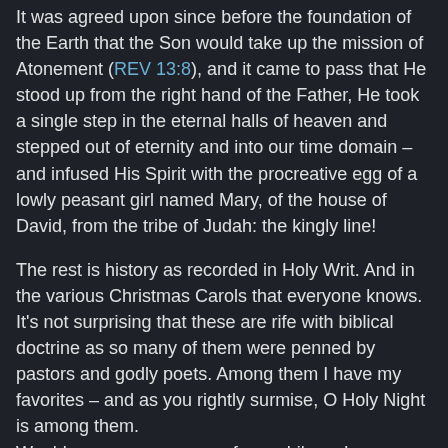It was agreed upon since before the foundation of the Earth that the Son would take up the mission of Atonement (REV 13:8), and it came to pass that He stood up from the right hand of the Father, He took a single step in the eternal halls of heaven and stepped out of eternity and into our time domain – and infused His Spirit with the procreative egg of a lowly peasant girl named Mary, of the house of David, from the tribe of Judah: the kingly line!
The rest is history as recorded in Holy Writ. And in the various Christmas Carols that everyone knows. It's not surprising that these are rife with biblical doctrine as so many of them were penned by pastors and godly poets. Among them I have my favorites – and as you rightly surmise, O Holy Night is among them.
Would you accompany me for a while as I muse upon these lyrics and expound upon their Scriptural relevance?
James J. Fire at 7:16 PM   No comments: